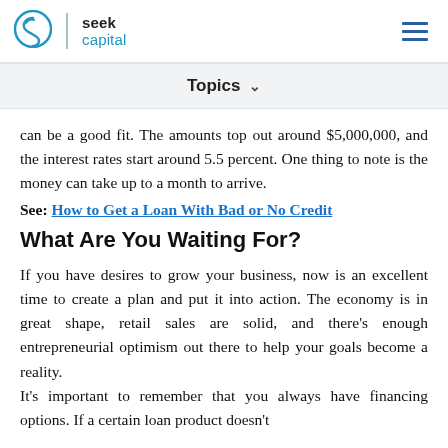seek capital
Topics
can be a good fit. The amounts top out around $5,000,000, and the interest rates start around 5.5 percent. One thing to note is the money can take up to a month to arrive.
See: How to Get a Loan With Bad or No Credit
What Are You Waiting For?
If you have desires to grow your business, now is an excellent time to create a plan and put it into action. The economy is in great shape, retail sales are solid, and there's enough entrepreneurial optimism out there to help your goals become a reality. It's important to remember that you always have financing options. If a certain loan product doesn't